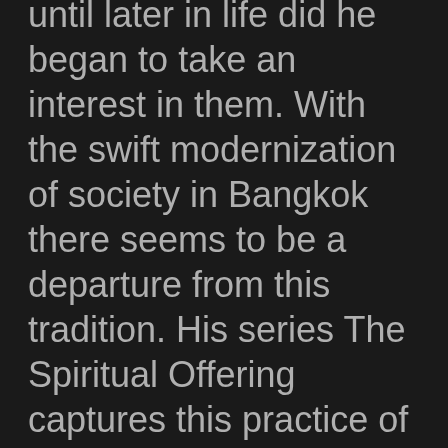until later in life did he began to take an interest in them. With the swift modernization of society in Bangkok there seems to be a departure from this tradition. His series The Spiritual Offering captures this practice of hope and faith.
Each spiritual offering is reflective of a way of life and an indication of the various